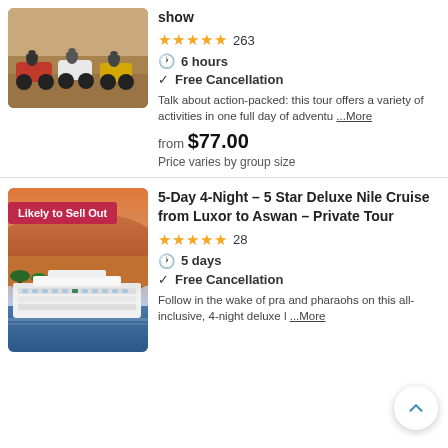[Figure (photo): People riding ATVs in the desert with raised hands]
show
★★★★★ 263
6 hours
Free Cancellation
Talk about action-packed: this tour offers a variety of activities in one full day of adventu... More
from $77.00
Price varies by group size
[Figure (photo): Nile cruise ship on the river with rocky hills in background. Badge: Likely to Sell Out]
5-Day 4-Night - 5 Star Deluxe Nile Cruise from Luxor to Aswan - Private Tour
★★★★★ 28
5 days
Free Cancellation
Follow in the wake of pra and pharaohs on this all-inclusive, 4-night deluxe h... More